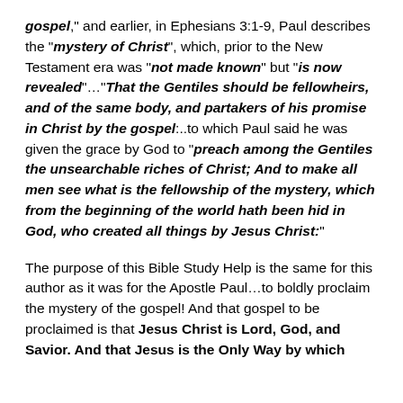gospel," and earlier, in Ephesians 3:1-9, Paul describes the "mystery of Christ", which, prior to the New Testament era was "not made known" but "is now revealed"…"That the Gentiles should be fellowheirs, and of the same body, and partakers of his promise in Christ by the gospel:..to which Paul said he was given the grace by God to "preach among the Gentiles the unsearchable riches of Christ; And to make all men see what is the fellowship of the mystery, which from the beginning of the world hath been hid in God, who created all things by Jesus Christ:"
The purpose of this Bible Study Help is the same for this author as it was for the Apostle Paul…to boldly proclaim the mystery of the gospel!  And that gospel to be proclaimed is that Jesus Christ is Lord, God, and Savior. And that Jesus is the Only Way by which...